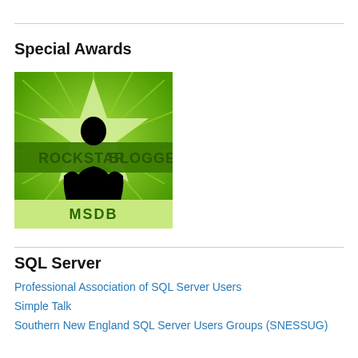Special Awards
[Figure (illustration): Rockstar Blogger badge with green background, star shape, silhouette of a person, and text 'ROCKSTAR BLOGGER MSDB']
SQL Server
Professional Association of SQL Server Users
Simple Talk
Southern New England SQL Server Users Groups (SNESSUG)